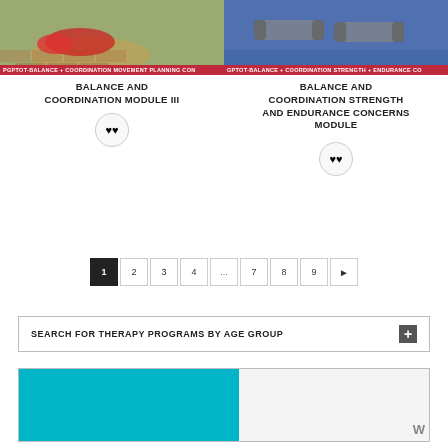[Figure (photo): Photo of bicycle wheel and red sneaker shoe on brick pavement with red banner label: PGPTOT-BALANCE + COORDINATION MOVEMENT PLANNING CON...]
BALANCE AND COORDINATION MODULE III
[Figure (illustration): Circle button with two heart icons]
[Figure (photo): Photo of dumbbells on blue mat with red banner label: GPTOT-BALANCE + COORDINATION STRENGTH + ENDURANCE CO...]
BALANCE AND COORDINATION STRENGTH AND ENDURANCE CONCERNS MODULE
[Figure (illustration): Circle button with two heart icons]
1 2 3 4 ... 7 8 9 ▶
SEARCH FOR THERAPY PROGRAMS BY AGE GROUP
[Figure (photo): Bottom image strip with teal/cyan block on left and partial WordPress logo on right]